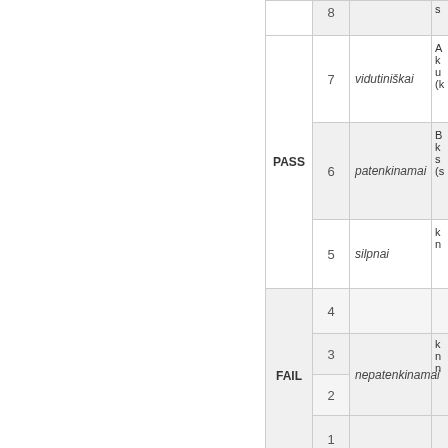| PASS/FAIL | Score | Label | Description |
| --- | --- | --- | --- |
|  | 8 |  | s... |
| PASS | 7 | vidutiniškai | A k u (k... |
| PASS | 6 | patenkinamai | B k s (s... |
| PASS | 5 | silpnai | k n... |
| FAIL | 4 |  |  |
| FAIL | 3 | nepatenkinamai | k n n... |
| FAIL | 2 | nepatenkinamai |  |
| FAIL | 1 |  |  |